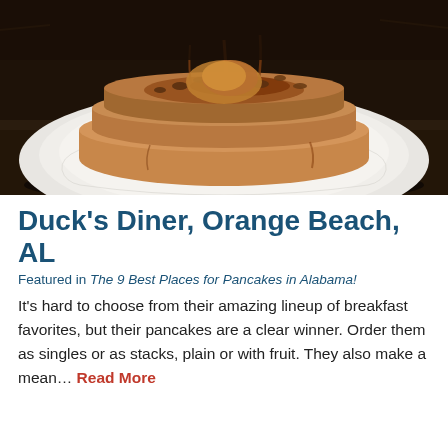[Figure (photo): Close-up photo of a stack of pancakes on a white plate, topped with nuts, fruit compote, and syrup being drizzled from above. Dark wood background.]
Duck's Diner, Orange Beach, AL
Featured in The 9 Best Places for Pancakes in Alabama!
It's hard to choose from their amazing lineup of breakfast favorites, but their pancakes are a clear winner. Order them as singles or as stacks, plain or with fruit. They also make a mean… Read More